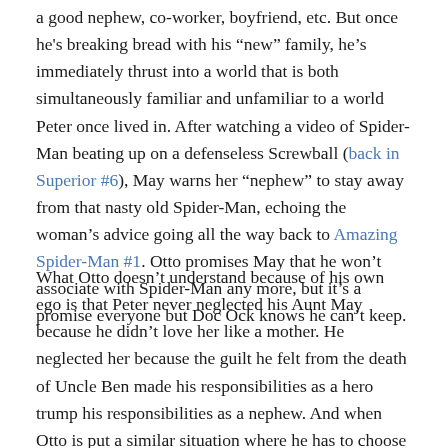a good nephew, co-worker, boyfriend, etc. But once he's breaking bread with his "new" family, he's immediately thrust into a world that is both simultaneously familiar and unfamiliar to a world Peter once lived in. After watching a video of Spider-Man beating up on a defenseless Screwball (back in Superior #6), May warns her "nephew" to stay away from that nasty old Spider-Man, echoing the woman's advice going all the way back to Amazing Spider-Man #1. Otto promises May that he won't associate with Spider-Man any more, but it's a promise everyone but Doc Ock knows he can't keep.
What Otto doesn't understand because of his own ego is that Peter never neglected his Aunt May because he didn't love her like a mother. He neglected her because the guilt he felt from the death of Uncle Ben made his responsibilities as a hero trump his responsibilities as a nephew. And when Otto is put a similar situation where he has to choose one or the other, I'm imagine he's going to choose Spider-Man, and it will probably be done in a way that is viewed as a betrayal by Aunt May.